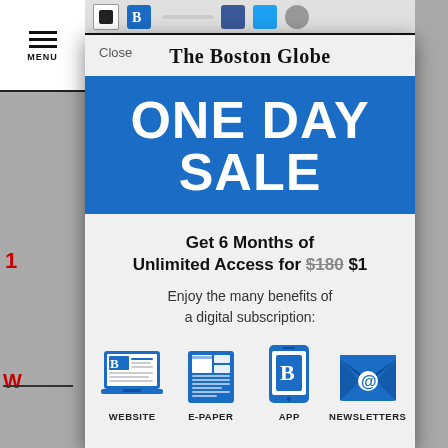[Figure (screenshot): Browser top navigation bar with menu icon, Boston Globe icon, Facebook, Twitter icons partially visible]
Close
The Boston Globe
ONE DAY SALE
Get 6 Months of Unlimited Access for $180 $1
Enjoy the many benefits of a digital subscription:
[Figure (illustration): Four blue icons representing WEBSITE (laptop with Globe logo), E-PAPER (newspaper layout), APP (smartphone with Globe logo), NEWSLETTERS (envelope with @ symbol)]
WEBSITE   E-PAPER   APP   NEWSLETTERS